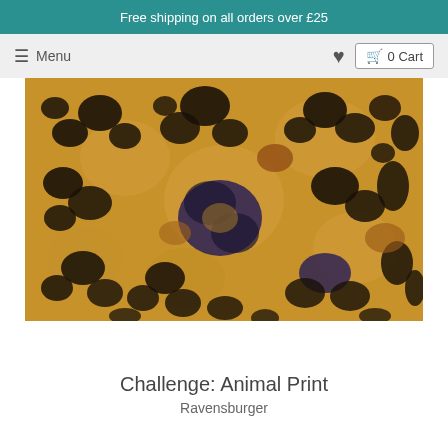Free shipping on all orders over £25
Menu  ♥  0 Cart
[Figure (photo): Close-up photograph of leopard/animal print fabric texture with golden-brown background and black irregular spots/rosettes]
Challenge: Animal Print
Ravensburger